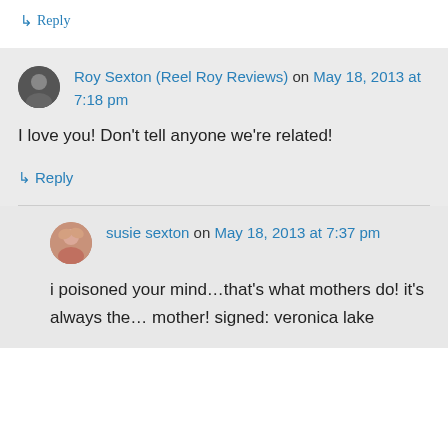↳ Reply
Roy Sexton (Reel Roy Reviews) on May 18, 2013 at 7:18 pm
I love you! Don't tell anyone we're related!
↳ Reply
susie sexton on May 18, 2013 at 7:37 pm
i poisoned your mind…that's what mothers do! it's always the… mother! signed: veronica lake